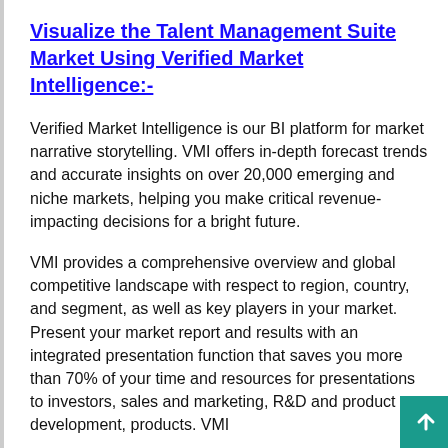Visualize the Talent Management Suite Market Using Verified Market Intelligence:-
Verified Market Intelligence is our BI platform for market narrative storytelling. VMI offers in-depth forecast trends and accurate insights on over 20,000 emerging and niche markets, helping you make critical revenue-impacting decisions for a bright future.
VMI provides a comprehensive overview and global competitive landscape with respect to region, country, and segment, as well as key players in your market. Present your market report and results with an integrated presentation function that saves you more than 70% of your time and resources for presentations to investors, sales and marketing, R&D and product development, products. VMI